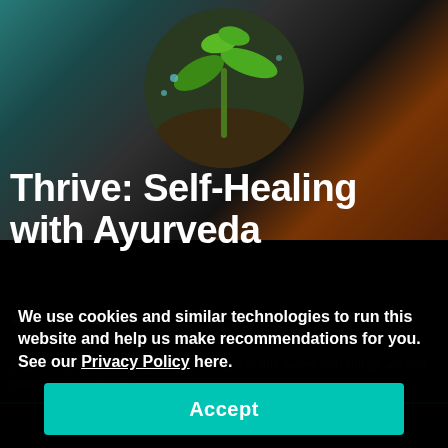[Figure (photo): Background composite image with teal water/smoke on left, fire on right; a circular inset photo showing a green plant seedling in the center-top area]
Thrive: Self-Healing with Ayurveda
1 Season • 22 Episodes
We use cookies and similar technologies to run this website and help us make recommendations for you. See our Privacy Policy here.
Accept
Explore Ayurveda through five pathways in this series that brings ancient wisdom to modern life
Start Free Trial